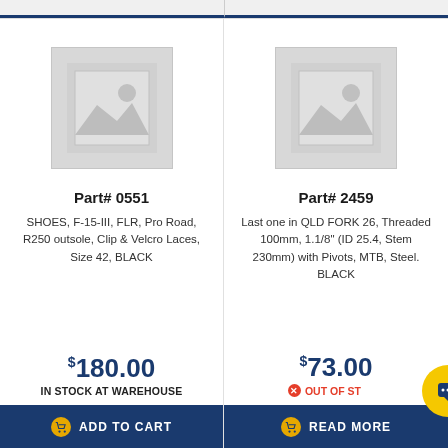[Figure (other): Product placeholder image for Part# 0551]
Part# 0551
SHOES, F-15-III, FLR, Pro Road, R250 outsole, Clip & Velcro Laces, Size 42, BLACK
$180.00
IN STOCK AT WAREHOUSE
ADD TO CART
[Figure (other): Product placeholder image for Part# 2459]
Part# 2459
Last one in QLD FORK 26, Threaded 100mm, 1.1/8" (ID 25.4, Stem 230mm) with Pivots, MTB, Steel. BLACK
$73.00
OUT OF STOCK
READ MORE